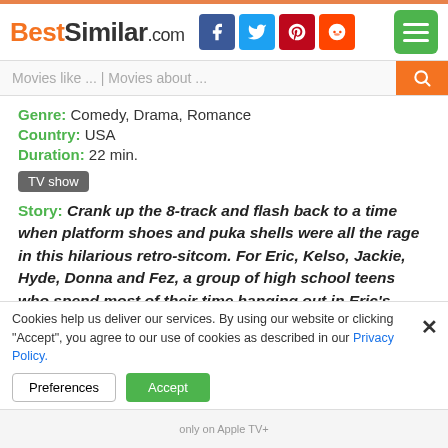BestSimilar.com
Movies like ... | Movies about ...
Genre: Comedy, Drama, Romance
Country: USA
Duration: 22 min.
TV show
Story: Crank up the 8-track and flash back to a time when platform shoes and puka shells were all the rage in this hilarious retro-sitcom. For Eric, Kelso, Jackie, Hyde, Donna and Fez, a group of high school teens who spend most of their time hanging out in Eric's basement, life in the '70s isn't always so groovy. But between trying to figure out the meaning of life, avoiding their parents, and dealing with out-of-control hormones, they've learned one thing for sure: they'll
Cookies help us deliver our services. By using our website or clicking "Accept", you agree to our use of cookies as described in our Privacy Policy.